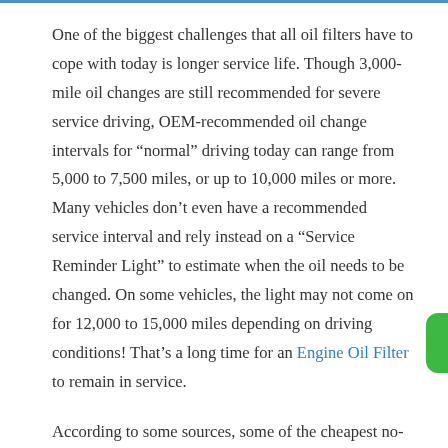One of the biggest challenges that all oil filters have to cope with today is longer service life. Though 3,000-mile oil changes are still recommended for severe service driving, OEM-recommended oil change intervals for “normal” driving today can range from 5,000 to 7,500 miles, or up to 10,000 miles or more. Many vehicles don’t even have a recommended service interval and rely instead on a “Service Reminder Light” to estimate when the oil needs to be changed. On some vehicles, the light may not come on for 12,000 to 15,000 miles depending on driving conditions! That’s a long time for an Engine Oil Filter to remain in service.
According to some sources, some of the cheapest no-name generic oil filters from China are not even lasting 3,000 miles before they plug up and go into bypass mode. All oil